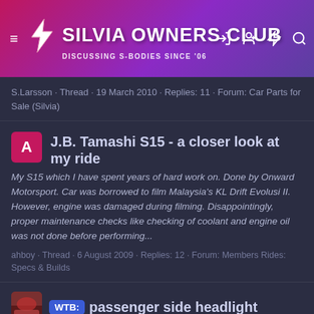SILVIA OWNERS CLUB — DISCUSSING S-BODIES SINCE '06
S.Larsson · Thread · 19 March 2010 · Replies: 11 · Forum: Car Parts for Sale (Silvia)
J.B. Tamashi S15 - a closer look at my ride
My S15 which I have spent years of hard work on. Done by Onward Motorsport. Car was borrowed to film Malaysia's KL Drift Evolusi II. However, engine was damaged during filming. Disappointingly, proper maintenance checks like checking of coolant and engine oil was not done before performing...
ahboy · Thread · 6 August 2009 · Replies: 12 · Forum: Members Rides: Specs & Builds
WTB: passenger side headlight
does anyone have one please had a run in with a dog:furious: and yes he did survive but my headlight didnt :annoyed: need one asap as the kit is been fitted this week